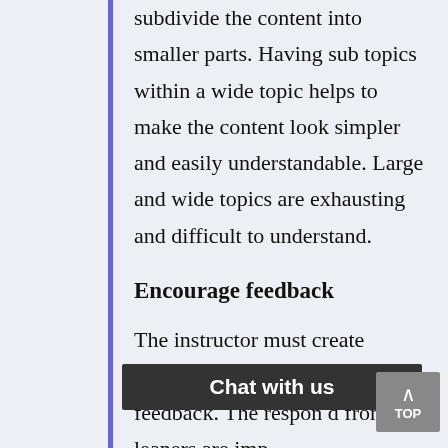subdivide the content into smaller parts. Having sub topics within a wide topic helps to make the content look simpler and easily understandable. Large and wide topics are exhausting and difficult to understand.
Encourage feedback
The instructor must create platform for collection of feedback. The responses and feedback from learners are im...